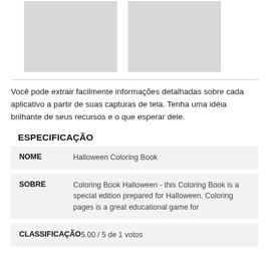[Figure (illustration): Two grey placeholder image boxes side by side]
Você pode extrair facilmente informações detalhadas sobre cada aplicativo a partir de suas capturas de tela. Tenha uma idéia brilhante de seus recursos e o que esperar dele.
ESPECIFICAÇÃO
| NOME | Halloween Coloring Book |
| SOBRE | Coloring Book Halloween - this Coloring Book is a special edition prepared for Halloween. Coloring pages is a great educational game for |
| CLASSIFICAÇÃO | 5.00 / 5 de 1 votos |